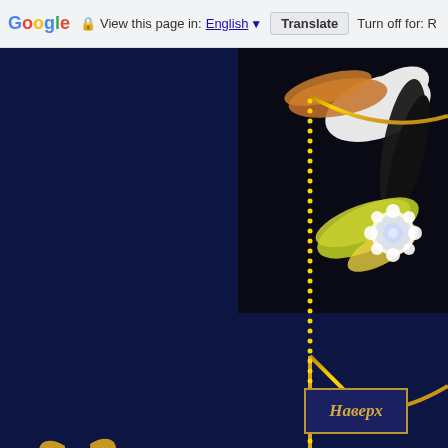Google  View this page in: English  Translate  Turn off for: R
[Figure (illustration): Dark navy blue background with golden ornamental border/chain forming an L-shape with decorative scroll/flourish at lower left, and a diagonal golden chain sweeping to the right. Upper right corner shows colorful feathers (orange, white, yellow, black) with a jeweled brooch.]
Наверх